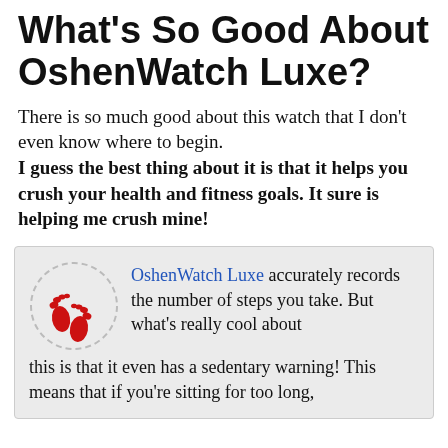What's So Good About OshenWatch Luxe?
There is so much good about this watch that I don't even know where to begin. I guess the best thing about it is that it helps you crush your health and fitness goals. It sure is helping me crush mine!
OshenWatch Luxe accurately records the number of steps you take. But what's really cool about this is that it even has a sedentary warning! This means that if you're sitting for too long,